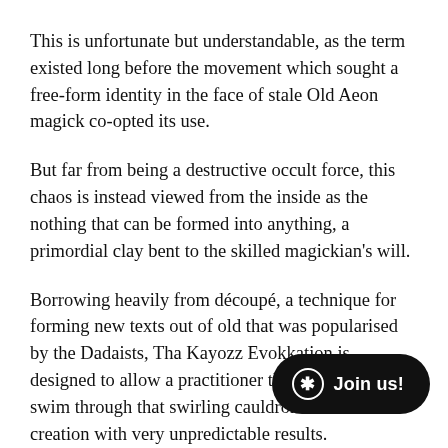This is unfortunate but understandable, as the term existed long before the movement which sought a free-form identity in the face of stale Old Aeon magick co-opted its use.
But far from being a destructive occult force, this chaos is instead viewed from the inside as the nothing that can be formed into anything, a primordial clay bent to the skilled magickian's will.
Borrowing heavily from découpé, a technique for forming new texts out of old that was popularised by the Dadaists, Tha Kayozz Evokkation is designed to allow a practitioner the opportunity to swim through that swirling cauldron of random cr⁠eation with very unpredictable results.